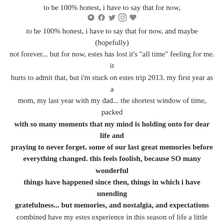to be 100% honest, i have to say that for now, and maybe (hopefully) not forever... but for now, estes has lost it's "all time" feeling for me. it hurts to admit that, but i'm stuck on estes trip 2013. my first year as a mom, my last year with my dad... the shortest window of time, packed with so many moments that my mind is holding onto for dear life and praying to never forget. some of our last great memories before everything changed. this feels foolish, because SO many wonderful things have happened since then, things in which i have unending gratefulness... but memories, and nostalgia, and expectations combined have my estes experience in this season of life a little tainted. i still enjoy our time there together to my core, and am working towards adapting to change... chris encouraged me while talking with him about it. he reminded me of christmas 2007... i always always always talked about christmas 2007, and how it was the best of all the christmases + how i was always feeling a little let down every christmas since, because i had expectations for things to be EXACTLY wonderful like that year had been... my dad was cancer free after the previous year being in the thick of it, chris and i were back together after the dark time, and it was a blizzard white